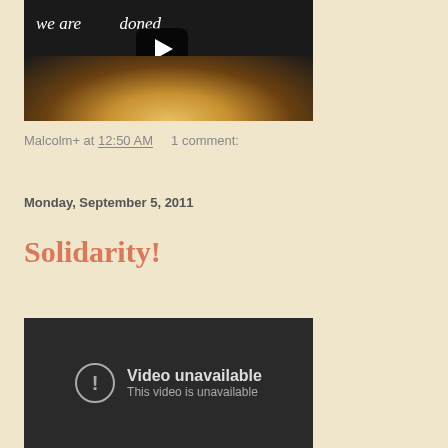[Figure (screenshot): YouTube video thumbnail with play button, showing text 'we are ...doned' over a dark road with light glow]
Malcolm+ at 12:50 AM    1 comment:
Monday, September 5, 2011
Solidarity!
[Figure (screenshot): YouTube video player showing error: 'Video unavailable - This video is unavailable']